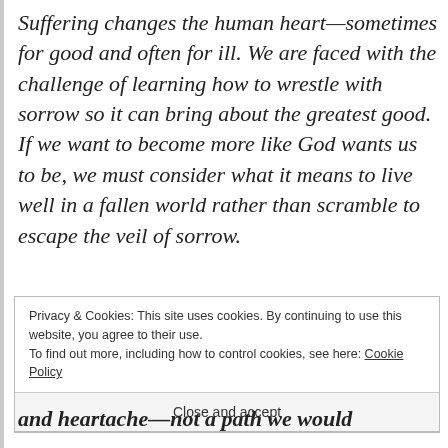Suffering changes the human heart—sometimes for good and often for ill. We are faced with the challenge of learning how to wrestle with sorrow so it can bring about the greatest good. If we want to become more like God wants us to be, we must consider what it means to live well in a fallen world rather than scramble to escape the veil of sorrow.
Privacy & Cookies: This site uses cookies. By continuing to use this website, you agree to their use. To find out more, including how to control cookies, see here: Cookie Policy
Close and accept
and heartache—not a path we would